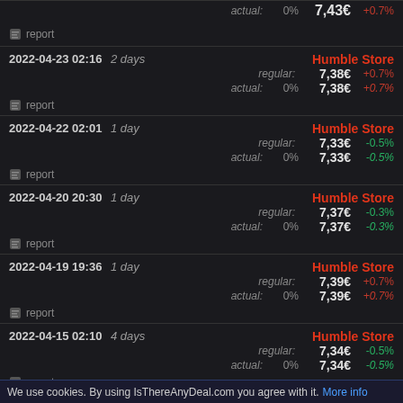actual: 0% 7,43€ +0.7%
report
2022-04-23 02:16 2 days | Humble Store | regular: 7,38€ +0.7% | actual: 0% 7,38€ +0.7%
report
2022-04-22 02:01 1 day | Humble Store | regular: 7,33€ -0.5% | actual: 0% 7,33€ -0.5%
report
2022-04-20 20:30 1 day | Humble Store | regular: 7,37€ -0.3% | actual: 0% 7,37€ -0.3%
report
2022-04-19 19:36 1 day | Humble Store | regular: 7,39€ +0.7% | actual: 0% 7,39€ +0.7%
report
2022-04-15 02:10 4 days | Humble Store | regular: 7,34€ -0.5% | actual: 0% 7,34€ -0.5%
report
We use cookies. By using IsThereAnyDeal.com you agree with it. More info